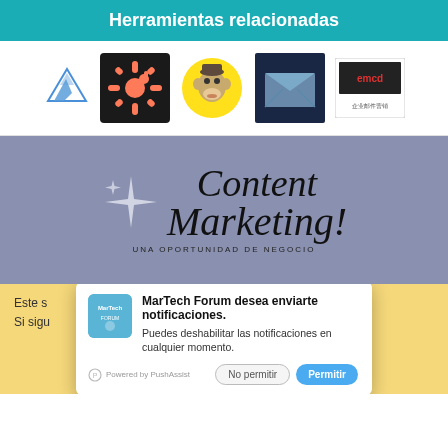Herramientas relacionadas
[Figure (logo): Row of 5 marketing tool logos: Adestra, HubSpot, Mailchimp, a dark email tool, and emred]
[Figure (illustration): Content Marketing! UNA OPORTUNIDAD DE NEGOCIO banner with decorative stars on grey-blue background]
Este s... usuario. Si sigu... as estos
[Figure (screenshot): MarTech Forum notification popup: MarTech Forum desea enviarte notificaciones. Puedes deshabilitar las notificaciones en cualquier momento. Powered by PushAssist. Buttons: No permitir, Permitir]